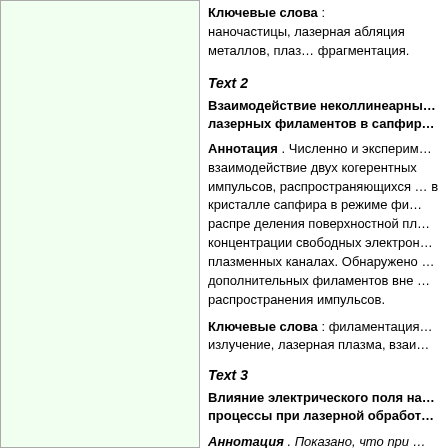Ключевые слова : наночастицы, лазерная абляция металлов, лазерная фрагментация.
Text 2
Взаимодействие неколлинеарных лазерных филаментов в сапфире
Аннотация . Численно и экспериментально изучено взаимодействие двух когерентных фемтосекундных импульсов, распространяющихся под углом в кристалле сапфира в режиме филаментации. Исследованы распределения поверхностной плазмы и концентрации свободных электронов в плазменных каналах. Обнаружено образование дополнительных филаментов вне плоскости распространения импульсов.
Ключевые слова : филаментация, femtosecond излучение, лазерная плазма, взаимодействие.
Text 3
Влияние электрического поля на процессы при лазерной обработке
Аннотация . Показано, что при лазерной обработке